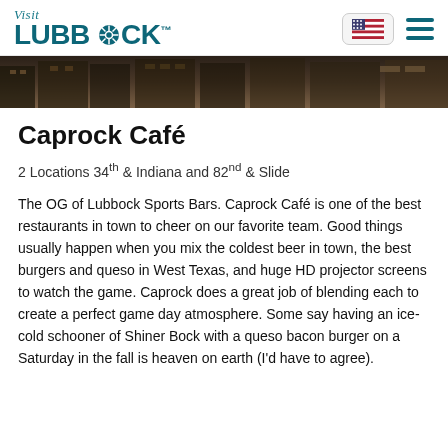Visit LUBBOCK
[Figure (photo): Dark cityscape/building hero image strip]
Caprock Café
2 Locations 34th & Indiana and 82nd & Slide
The OG of Lubbock Sports Bars. Caprock Café is one of the best restaurants in town to cheer on our favorite team. Good things usually happen when you mix the coldest beer in town, the best burgers and queso in West Texas, and huge HD projector screens to watch the game. Caprock does a great job of blending each to create a perfect game day atmosphere. Some say having an ice-cold schooner of Shiner Bock with a queso bacon burger on a Saturday in the fall is heaven on earth (I'd have to agree).